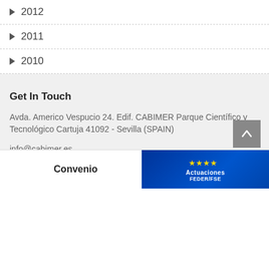▶ 2012
▶ 2011
▶ 2010
Get In Touch
Avda. Americo Vespucio 24. Edif. CABIMER Parque Científico y Tecnológico Cartuja 41092 - Sevilla (SPAIN)
info@cabimer.es
+0034 954 468 004
Convenio
[Figure (logo): EU Actuaciones FEDER/FSE badge with yellow stars on blue background]